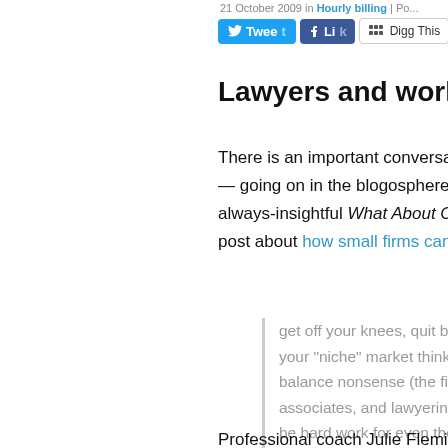21 October 2009 in Hourly billing | Po...
[Figure (other): Social sharing buttons: Tweet (Twitter), Like (Facebook), Digg This, Save]
Lawyers and work-life bala...
There is an important conversatio... — going on in the blogosphere a... always-insightful What About Clie... post about how small firms can...
get off your knees, quit botto... your "niche" market thinking... balance nonsense (the first ... associates, and lawyering d... be hard work for even the g... clients, provide outrageous...
Professional coach Julie Fleming... up on the "nonsense" tag and ha...